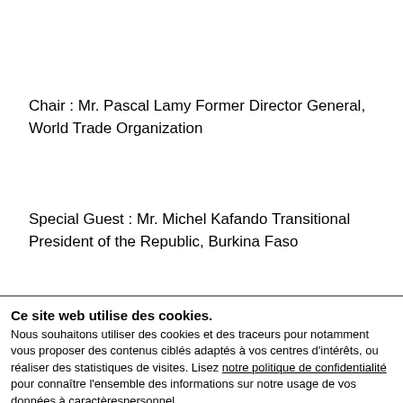Chair : Mr. Pascal Lamy Former Director General, World Trade Organization
Special Guest : Mr. Michel Kafando Transitional President of the Republic, Burkina Faso
Ce site web utilise des cookies. Nous souhaitons utiliser des cookies et des traceurs pour notamment vous proposer des contenus ciblés adaptés à vos centres d'intérêts, ou réaliser des statistiques de visites. Lisez notre politique de confidentialité pour connaître l'ensemble des informations sur notre usage de vos données à caractèrespersonnel.